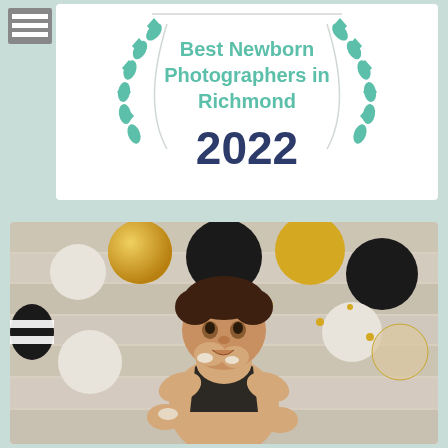[Figure (logo): Award badge with laurel wreath and text 'Best Newborn Photographers in Richmond 2022' in teal/green and navy colors on white background]
[Figure (photo): Baby/toddler with curly dark hair wearing black suspenders, sitting in front of gold, white, and black balloons on a rustic wood background, eating cake with hands in mouth]